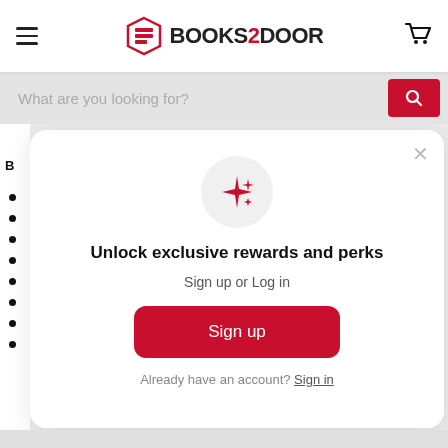[Figure (screenshot): Books2Door website header with hamburger menu, logo, and cart icon]
[Figure (screenshot): Search bar with placeholder text 'What are you looking for?' and red search button]
[Figure (screenshot): Modal popup with sparkle icon, rewards text, sign up button and sign in link]
Unlock exclusive rewards and perks
Sign up or Log in
Sign up
Already have an account? Sign in